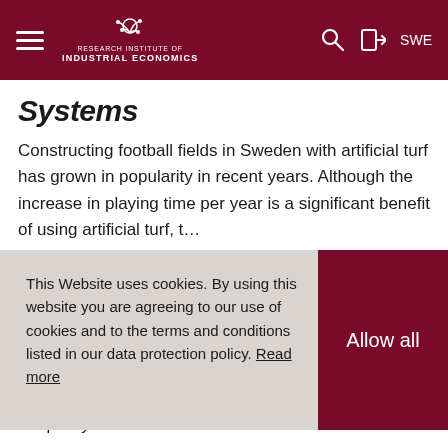RESEARCH INSTITUTE OF INDUSTRIAL ECONOMICS | SWE
Systems
Constructing football fields in Sweden with artificial turf has grown in popularity in recent years. Although the increase in playing time per year is a significant benefit of using artificial turf, t…
This Website uses cookies. By using this website you are agreeing to our use of cookies and to the terms and conditions listed in our data protection policy. Read more
Daniel Waldenstrom, IFN, writes about income inequality in Vox EU.